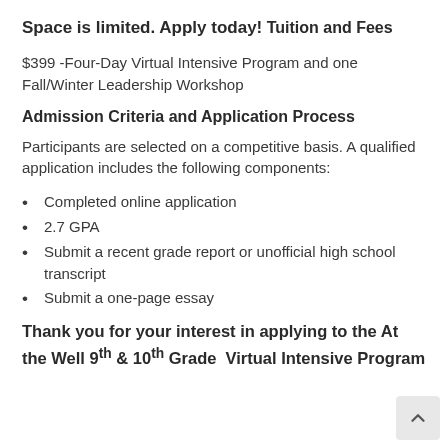Space is limited. Apply today!
Tuition and Fees
$399 -Four-Day Virtual Intensive Program and one Fall/Winter Leadership Workshop
Admission Criteria and Application Process
Participants are selected on a competitive basis. A qualified application includes the following components:
Completed online application
2.7 GPA
Submit a recent grade report or unofficial high school transcript
Submit a one-page essay
Thank you for your interest in applying to the At the Well 9th & 10th Grade Virtual Intensive Program